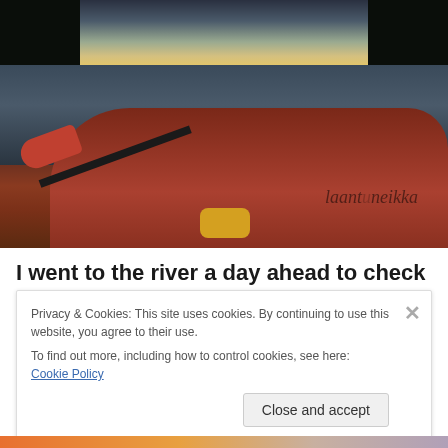[Figure (photo): View from inside a red kayak on a calm river at dusk, with trees on both banks, reflective water, and a paddle in the foreground. A watermark reading 'laantuneikka' or similar is visible. A yellow dry bag is on the kayak deck.]
I went to the river a day ahead to check the water level
Privacy & Cookies: This site uses cookies. By continuing to use this website, you agree to their use.
To find out more, including how to control cookies, see here: Cookie Policy
Close and accept